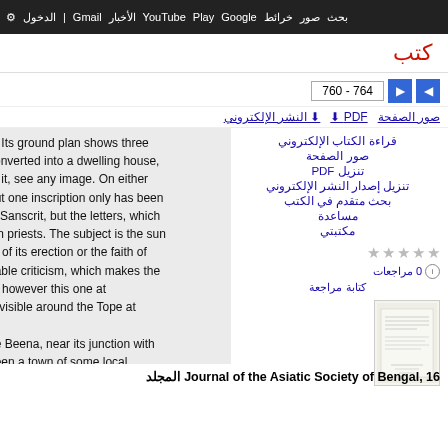بحث صور خرائط Google Play YouTube الأخبار Gmail الدخول الإعدادات
كتب
760 - 764
صور الصفحة  PDF  النشر الإلكتروني
p. Its ground plan shows three
converted into a dwelling house,
rs it, see any image. On either
but one inscription only has been
is Sanscrit, but the letters, which
ain priests. The subject is the sun
ra of its erection or the faith of
bable criticism, which makes the
re however this one at
ill visible around the Tope at

he Beena, near its junction with
been a town of some local
nudation of the mounds which
os of an extensive integral series.
قراءة الكتاب الإلكتروني
صور الصفحة
تنزيل PDF
تنزيل إصدار النشر الإلكتروني
بحث متقدم في الكتب
مساعدة
مكتبتي
0 مراجعات
كتابة مراجعة
Journal of the Asiatic Society of Bengal, 16 المجلد